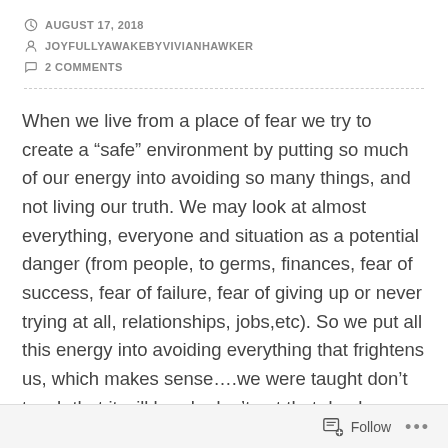AUGUST 17, 2018
JOYFULLYAWAKEBYVIVIANHAWKER
2 COMMENTS
When we live from a place of fear we try to create a “safe” environment by putting so much of our energy into avoiding so many things, and not living our truth. We may look at almost everything, everyone and situation as a potential danger (from people, to germs, finances, fear of success, fear of failure, fear of giving up or never trying at all, relationships, jobs,etc). So we put all this energy into avoiding everything that frightens us, which makes sense….we were taught don’t touch that it will break, don’t pet that dog he may bite, don’t jump off the monkey bars you’ll break your arm, don’t swim to